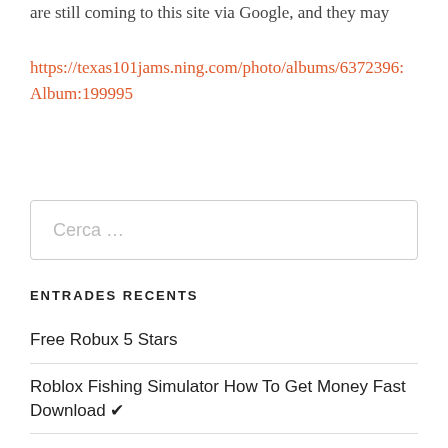are still coming to this site via Google, and they may
https://texas101jams.ning.com/photo/albums/6372396:Album:199995
[Figure (other): Search box with placeholder text 'Cerca ...']
ENTRADES RECENTS
Free Robux 5 Stars
Roblox Fishing Simulator How To Get Money Fast Download ✔
Claim Free Robux.net Free Download [Updated]
The Easiest Way To Get Robux For Free 🟦